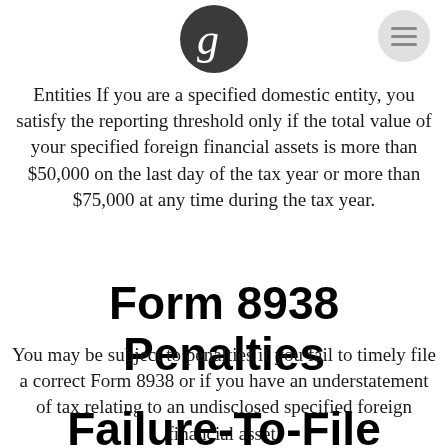g [logo]
Entities If you are a specified domestic entity, you satisfy the reporting threshold only if the total value of your specified foreign financial assets is more than $50,000 on the last day of the tax year or more than $75,000 at any time during the tax year.
Form 8938 Penalties
You may be subject to penalties if you fail to timely file a correct Form 8938 or if you have an understatement of tax relating to an undisclosed specified foreign financial asset.
Failure-To-File